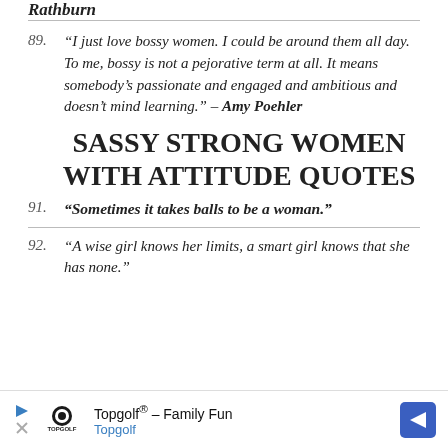Rathburn
89. “I just love bossy women. I could be around them all day. To me, bossy is not a pejorative term at all. It means somebody’s passionate and engaged and ambitious and doesn’t mind learning.” – Amy Poehler
90. SASSY STRONG WOMEN WITH ATTITUDE QUOTES
91. “Sometimes it takes balls to be a woman.”
92. “A wise girl knows her limits, a smart girl knows that she has none.”
[Figure (other): Topgolf advertisement banner with logo, play button icon, text 'Topgolf® - Family Fun' and navigation arrow]